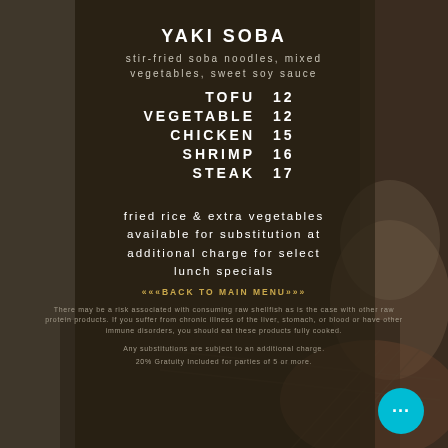YAKI SOBA
stir-fried soba noodles, mixed vegetables, sweet soy sauce
TOFU    12
VEGETABLE    12
CHICKEN    15
SHRIMP    16
STEAK    17
fried rice & extra vegetables available for substitution at additional charge for select lunch specials
«««BACK TO MAIN MENU»»»
There may be a risk associated with consuming raw shellfish as is the case with other raw protein products. If you suffer from chronic illness of the liver, stomach, or blood or have other immune disorders, you should eat these products fully cooked.
Any substitutions are subject to an additional charge.
20% Gratuity Included for parties of 5 or more.